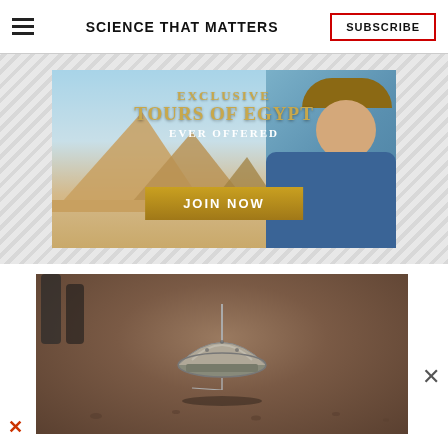SCIENCE THAT MATTERS
[Figure (illustration): Advertisement banner for exclusive tours of Egypt showing pyramids at Giza, a smiling older man in a cowboy hat and denim shirt, with text 'EXCLUSIVE TOURS OF EGYPT EVER OFFERED' and a gold 'JOIN NOW' button. Hatched gray borders on left and right sides.]
[Figure (photo): Photograph of a NASA InSight seismometer dome (SEIS instrument) sitting on the reddish-brown Martian surface, with a cable/tether visible and a person's legs visible in the background left.]